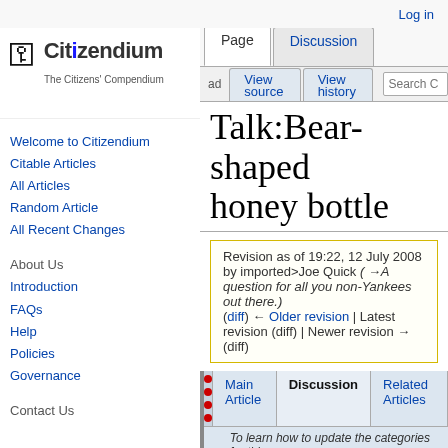Log in
[Figure (logo): Citizendium - The Citizens' Compendium logo with key icon]
Talk:Bear-shaped honey bottle
Revision as of 19:22, 12 July 2008 by imported>Joe Quick (→A question for all you non-Yankees out there.) (diff) ← Older revision | Latest revision (diff) | Newer revision → (diff)
Welcome to Citizendium
Citable Articles
All Articles
Random Article
All Recent Changes
About Us
Introduction
FAQs
Help
Policies
Governance
Contact Us
To learn how to update the categories for this a
Definition: The plastic container used
Workgroup category: Business [Editors